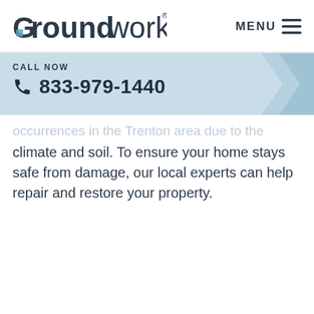[Figure (logo): Groundworks company logo — stylized 'G' with teal accent followed by 'roundworks' in dark navy text]
MENU
CALL NOW
☎ 833-979-1440
occurrences in the Trenton area due to the climate and soil. To ensure your home stays safe from damage, our local experts can help repair and restore your property.